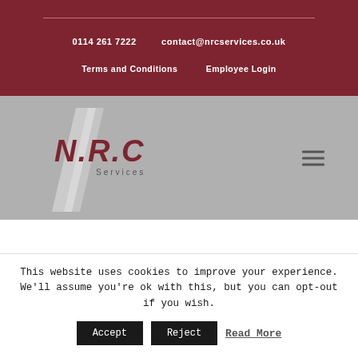0114 261 7222   contact@nrcservices.co.uk   Terms and Conditions   Employee Login
[Figure (logo): N.R.C Services logo with diagonal slash shape on grey background, red italic bold text 'N.R.C' with 'Services' subtitle]
APPRENTICES
This website uses cookies to improve your experience. We'll assume you're ok with this, but you can opt-out if you wish.
Accept   Reject   Read More